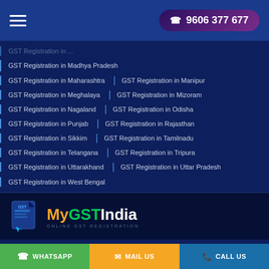9606 377 677
GST Registration in Madhya Pradesh
GST Registration in Maharashtra | GST Registration in Manipur
GST Registration in Meghalaya | GST Registration in Mizoram
GST Registration in Nagaland | GST Registration in Odisha
GST Registration in Punjab | GST Registration in Rajasthan
GST Registration in Sikkim | GST Registration in Tamilnadu
GST Registration in Telangana | GST Registration in Tripura
GST Registration in Uttarakhand | GST Registration in Uttar Pradesh
GST Registration in West Bengal
[Figure (logo): MyGSTIndia logo with GST document icon, orange My, green GST, white India text, subtitle ONLINE GST REGISTRATION]
WHATSAPP | MAIL US | CALL US